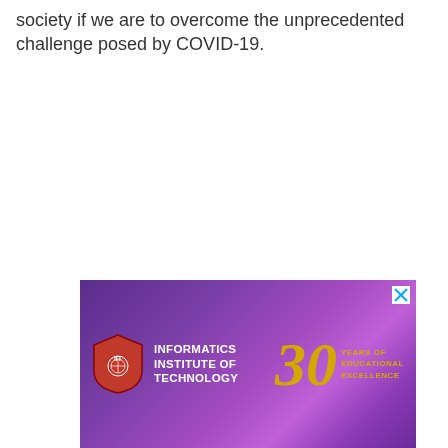society if we are to overcome the unprecedented challenge posed by COVID-19.
[Figure (infographic): Advertisement banner for Informatics Institute of Technology featuring a red shield logo with 'IIT' text, the institute name in white on a purple gradient background, and '30 YEARS OF EDUCATIONAL EXCELLENCE' in gold on the right side. A close (X) button appears in the top right corner.]